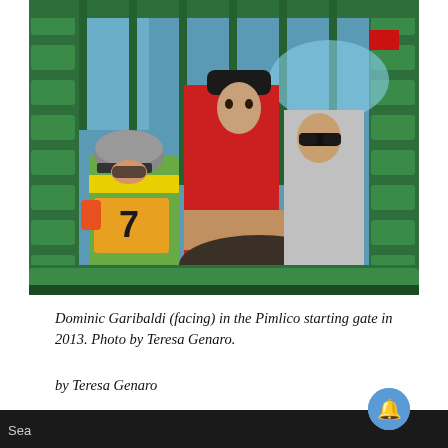[Figure (photo): Photo of Dominic Garibaldi facing the camera inside the Pimlico starting gate in 2013. A jockey wearing a helmet and green/yellow silks with number 7 is visible on the left. Two people in red shirts are in the center and right. The starting gate structure is green padded metal.]
Dominic Garibaldi (facing) in the Pimlico starting gate in 2013. Photo by Teresa Genaro.
by Teresa Genaro
One day last August at Saratoga, Dominic Garibaldi was hanging out by the walkway that leads from the